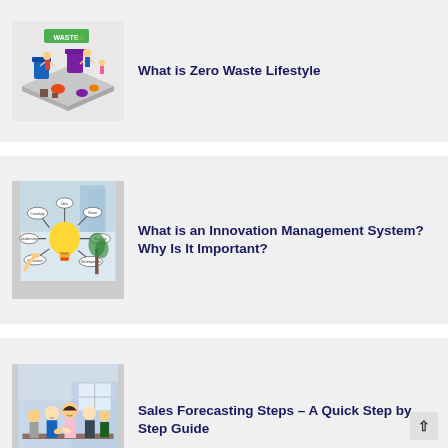[Figure (illustration): Isometric illustration of a waste management / recycling event with people, colorful bins, and items labeled 'WASTE 2019']
What is Zero Waste Lifestyle
[Figure (photo): Photo of a hand pointing at a light bulb mind-map diagram with words like 'Innovation', 'Idea', 'Vision', 'Strategy', 'Leadership', 'Motivation', 'Development', 'Execution']
What is an Innovation Management System? Why Is It Important?
[Figure (photo): Photo of a group of business people in a meeting room, smiling and applauding, with an office background]
Sales Forecasting Steps – A Quick Step by Step Guide